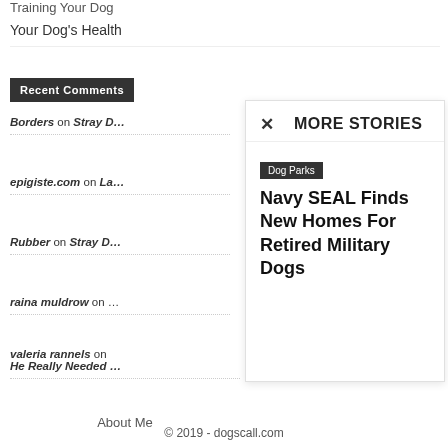Training Your Dog
Your Dog's Health
Recent Comments
Borders on Stray D…
epigiste.com on La…
Rubber on Stray D…
raina muldrow on …
valeria rannels on He Really Needed …
About Me
MORE STORIES
Dog Parks
Navy SEAL Finds New Homes For Retired Military Dogs
© 2019 - dogscall.com